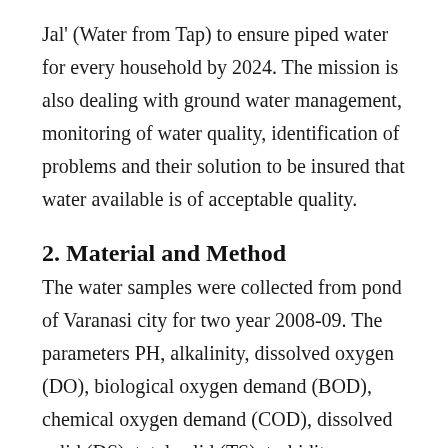Jal' (Water from Tap) to ensure piped water for every household by 2024. The mission is also dealing with ground water management, monitoring of water quality, identification of problems and their solution to be insured that water available is of acceptable quality.
2. Material and Method
The water samples were collected from pond of Varanasi city for two year 2008-09. The parameters PH, alkalinity, dissolved oxygen (DO), biological oxygen demand (BOD), chemical oxygen demand (COD), dissolved solid (DS), total solid (TS), turbidity, conductivity